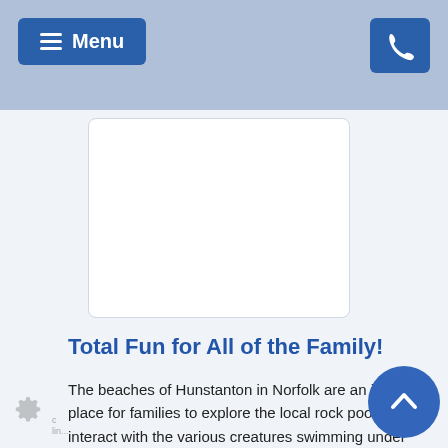≡ Menu
[Figure (other): White content/image placeholder box with rounded corners]
Total Fun for All of the Family!
The beaches of Hunstanton in Norfolk are an ideal place for families to explore the local rock pools, interact with the various creatures swimming under the sea and learn to windsurf. At Adventure